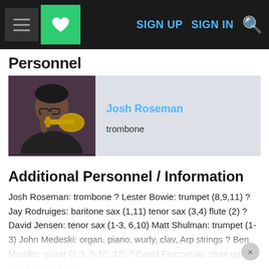SIGN UP  SIGN IN
Personnel
[Figure (photo): Photo of Josh Roseman playing trombone]
Josh Roseman
trombone
Additional Personnel / Information
Josh Roseman: trombone ? Lester Bowie: trumpet (8,9,11) ? Jay Rodruiges: baritone sax (1,11) tenor sax (3,4) flute (2) ? David Jensen: tenor sax (1-3, 6,10) Matt Shulman: trumpet (1-3) John Medeski: organ, piano, wurly, clav, Arp strings ? Ben Monder: guitar (1-3, 5-10, 12) ? David Fiuczynski: stunt guitar (1,3,4,11) ? Bob Stewart tuba, electric tuba (5, 7-9,11,12) ? Scott Colley: acoustic bass (1-4, 6, 10) Joey Baron: drums